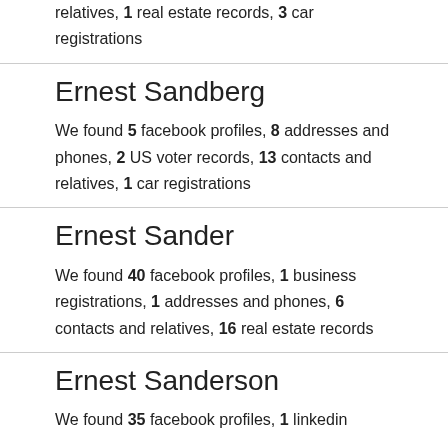relatives, 1 real estate records, 3 car registrations
Ernest Sandberg
We found 5 facebook profiles, 8 addresses and phones, 2 US voter records, 13 contacts and relatives, 1 car registrations
Ernest Sander
We found 40 facebook profiles, 1 business registrations, 1 addresses and phones, 6 contacts and relatives, 16 real estate records
Ernest Sanderson
We found 35 facebook profiles, 1 linkedin